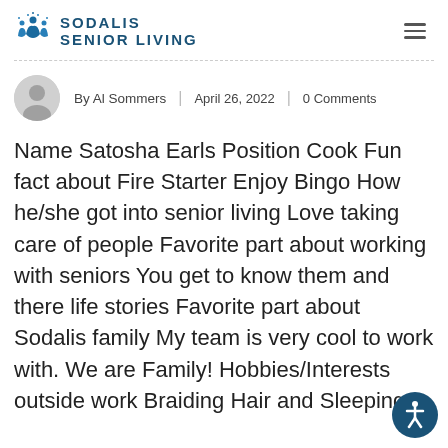[Figure (logo): Sodalis Senior Living logo with blue figure icon and bold blue text]
By Al Sommers | April 26, 2022 | 0 Comments
Name Satosha Earls Position Cook Fun fact about Fire Starter Enjoy Bingo How he/she got into senior living Love taking care of people Favorite part about working with seniors You get to know them and there life stories Favorite part about Sodalis family My team is very cool to work with. We are Family! Hobbies/Interests outside work Braiding Hair and Sleeping ...